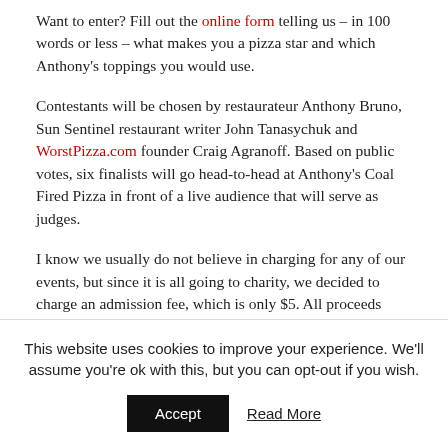Want to enter? Fill out the online form telling us – in 100 words or less – what makes you a pizza star and which Anthony's toppings you would use.
Contestants will be chosen by restaurateur Anthony Bruno, Sun Sentinel restaurant writer John Tanasychuk and WorstPizza.com founder Craig Agranoff. Based on public votes, six finalists will go head-to-head at Anthony's Coal Fired Pizza in front of a live audience that will serve as judges.
I know we usually do not believe in charging for any of our events, but since it is all going to charity, we decided to charge an admission fee, which is only $5. All proceeds going to The Dan Marino Foundation. Admission includes fountain drinks and samples of
This website uses cookies to improve your experience. We'll assume you're ok with this, but you can opt-out if you wish.